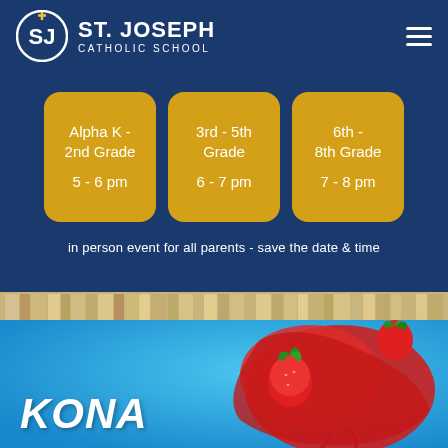[Figure (logo): St. Joseph Catholic School logo with circular SJ monogram and cross]
ST. JOSEPH CATHOLIC SCHOOL
[Figure (infographic): Dark navy blue banner with three gold/yellow rounded cards showing grade groups and times: Alpha K - 2nd Grade 5-6 pm | 3rd - 5th Grade 6-7 pm | 6th - 8th Grade 7-8 pm. Below: 'in person event for all parents - save the date & time'. Bottom shows row of books spines.]
[Figure (photo): Kona Ice promotional image with bright blue background, strawberries and red shaved ice, with 'KONA' text in bold white italic letters at bottom left]